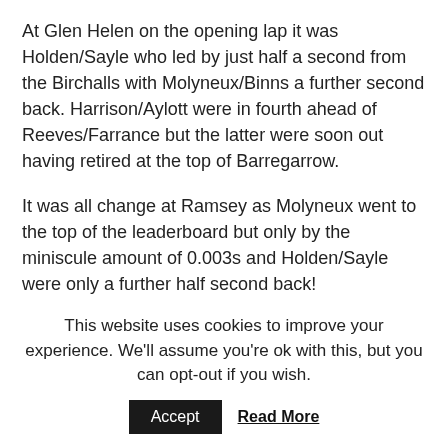At Glen Helen on the opening lap it was Holden/Sayle who led by just half a second from the Birchalls with Molyneux/Binns a further second back. Harrison/Aylott were in fourth ahead of Reeves/Farrance but the latter were soon out having retired at the top of Barregarrow.
It was all change at Ramsey as Molyneux went to the top of the leaderboard but only by the miniscule amount of 0.003s and Holden/Sayle were only a further half second back! Harrison/Aylott remained in fourth but had dropped to eleven seconds in
This website uses cookies to improve your experience. We'll assume you're ok with this, but you can opt-out if you wish.
Accept   Read More